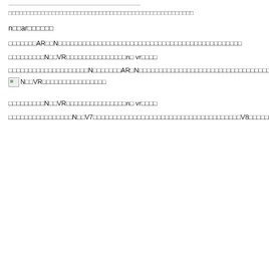□□□□□□□□□□□□□□□□□□□□□□□□□□□□□□□□□□□□□□□□□□□□□□□□□□□
n□□ar□□□□□□
□□□□□□□AR□□N□□□□□□□□□□□□□□□□□□□□□□□□□□□□□□□□□□□□□□□□□□□□□□
□□□□□□□□□N□□VR□□□□□□□□□□□□□□□n□ vr□□□□
□□□□□□□□□□□□□□□□□□□□N□□□□□□□AR□N□□□□□□□□□□□□□□□□□□□□□□□□□□□□□□□□□□□□□□□□□□□□□□□□□□□□□□□□□□□□□3□□□□□□□□□□□□□□□□□□N□□AR□□□□□□□□□□□□□□□□□□□□□□□90%□□□□□□□□□□□□□□□□□□□□□□□□□□□□□□□□□□□□□□□□□□□□□□□□□□□□□□□□□,
N□□VR□□□□□□□□□□□□□□□□
□□□□□□□□□N□□VR□□□□□□□□□□□□□□□n□ vr□□□□
□□□□□□□□□□□□□□□□N□□V7□□□□□□□□□□□□□□□□□□□□□□□□□□□□□□□□□□□□□V8□□□□□□□□□□□V5□□□□□□□□□□□□□□□□□□□□□□□